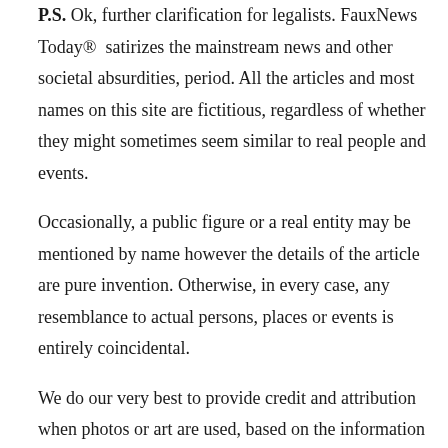P.S. Ok, further clarification for legalists. FauxNews Today® satirizes the mainstream news and other societal absurdities, period. All the articles and most names on this site are fictitious, regardless of whether they might sometimes seem similar to real people and events.
Occasionally, a public figure or a real entity may be mentioned by name however the details of the article are pure invention. Otherwise, in every case, any resemblance to actual persons, places or events is entirely coincidental.
We do our very best to provide credit and attribution when photos or art are used, based on the information available to us. This does not mean